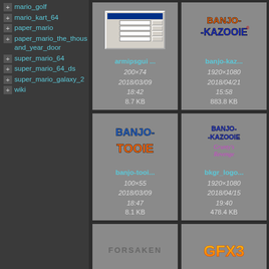+ mario_golf
+ mario_kart_64
+ paper_mario
+ paper_mario_the_thousand_year_door
+ super_mario_64
+ super_mario_64_ds
+ super_mario_galaxy_2
+ wiki
[Figure (screenshot): armipsgui thumbnail - GUI dialog screenshot, 200x74, 8.7 KB, 2018/03/09 18:42]
[Figure (screenshot): banjo-kaz thumbnail - Banjo-Kazooie logo, 1920x1080, 883.8 KB, 2018/04/21 15:58]
[Figure (screenshot): banjo-tooi thumbnail - Banjo-Tooie logo, 100x55, 8.1 KB, 2018/03/09 18:47]
[Figure (screenshot): bkgr_logo thumbnail - Banjo-Kazooie Grunty's Revenge logo, 1920x1080, 478.4 KB, 2018/04/15 19:40]
[Figure (screenshot): Forsaken logo partial thumbnail]
[Figure (screenshot): GFX3 logo partial thumbnail]